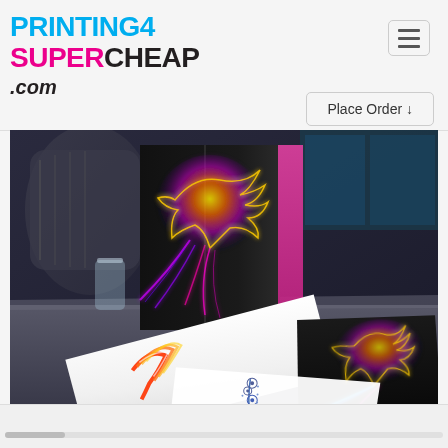[Figure (logo): Printing4SuperCheap.com logo with cyan, magenta and black text]
[Figure (other): Hamburger menu button icon in top right corner]
Place Order ↓
[Figure (photo): 3D rendered scene showing folded brochures/folders on a desk. One tall standing folder shows a neon glowing bird design on dark background, a flat dark card shows a similar neon bird design, and a white booklet shows a decorative floral/feather design. Office chair visible in background.]